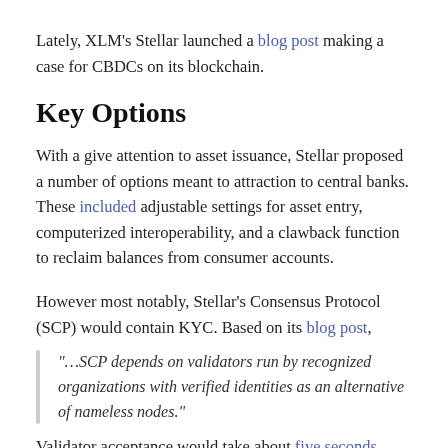Lately, XLM's Stellar launched a blog post making a case for CBDCs on its blockchain.
Key Options
With a give attention to asset issuance, Stellar proposed a number of options meant to attraction to central banks. These included adjustable settings for asset entry, computerized interoperability, and a clawback function to reclaim balances from consumer accounts.
However most notably, Stellar's Consensus Protocol (SCP) would contain KYC. Based on its blog post,
“…SCP depends on validators run by recognized organizations with verified identities as an alternative of nameless nodes.”
Validator acceptance would take about five seconds